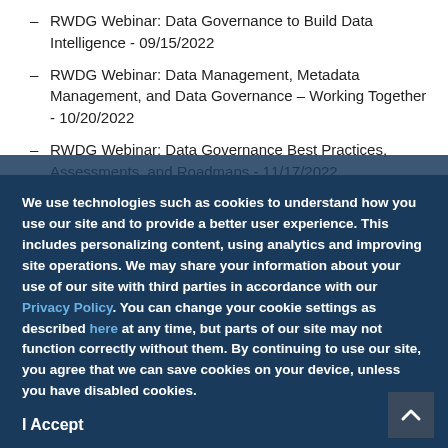RWDG Webinar: Data Governance to Build Data Intelligence - 09/15/2022
RWDG Webinar: Data Management, Metadata Management, and Data Governance – Working Together - 10/20/2022
RWDG Webinar: Data Governance Best Practices, Assessments, and Roadmaps - 11/17/2022
We use technologies such as cookies to understand how you use our site and to provide a better user experience. This includes personalizing content, using analytics and improving site operations. We may share your information about your use of our site with third parties in accordance with our Privacy Policy. You can change your cookie settings as described here at any time, but parts of our site may not function correctly without them. By continuing to use our site, you agree that we can save cookies on your device, unless you have disabled cookies.
I Accept